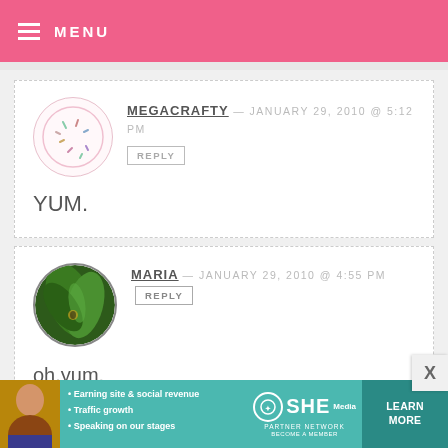MENU
MEGACRAFTY — JANUARY 29, 2010 @ 5:12 PM
REPLY
YUM.
MARIA — JANUARY 29, 2010 @ 4:55 PM REPLY
oh.yum.
I've made previous dump cakes with pumpkin...but never even thought it
[Figure (infographic): SHE Partner Network advertisement banner with woman photo, bullet points about earning site & social revenue, traffic growth, speaking on our stages, SHE logo, and Learn More button]